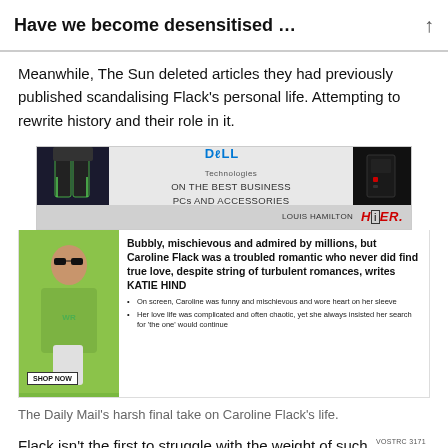Have we become desensitised …
Meanwhile, The Sun deleted articles they had previously published scandalising Flack's personal life. Attempting to rewrite history and their role in it.
[Figure (screenshot): Advertisement for Dell Technologies showing business PCs and accessories, alongside a newspaper article thumbnail with headline about Caroline Flack]
The Daily Mail's harsh final take on Caroline Flack's life.
Flack isn't the first to struggle with the weight of such